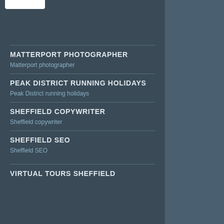MATTERPORT PHOTOGRAPHER
Matterport photographer
PEAK DISTRICT RUNNING HOLIDAYS
Peak District running holidays
SHEFFIELD COPYWRITER
Sheffield copywriter
SHEFFIELD SEO
Sheffield SEO
VIRTUAL TOURS SHEFFIELD